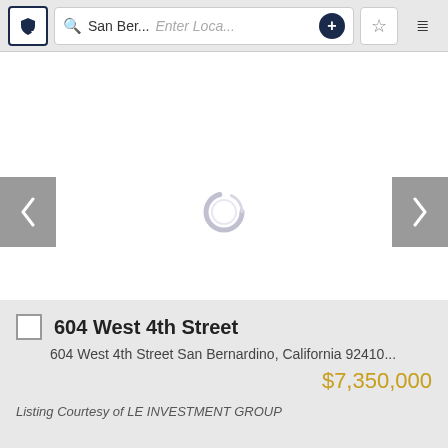[Figure (screenshot): App toolbar with shield icon, search bar showing 'San Ber...', location placeholder 'Enter Loca...', plus button, star/favorite button, and sort icon]
[Figure (screenshot): Property image carousel area with left and right navigation arrows and a loading spinner in the center. Counter badge showing '1 of 21' in bottom right.]
604 West 4th Street
604 West 4th Street San Bernardino, California 92410...
$7,350,000
Listing Courtesy of LE INVESTMENT GROUP